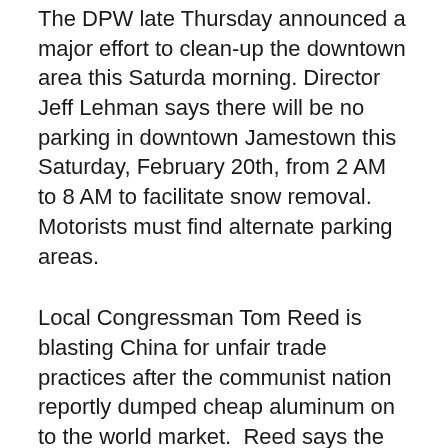The DPW late Thursday announced a major effort to clean-up the downtown area this Saturda morning. Director Jeff Lehman says there will be no parking in downtown Jamestown this Saturday, February 20th, from 2 AM to 8 AM to facilitate snow removal.  Motorists must find alternate parking areas.
Local Congressman Tom Reed is blasting China for unfair trade practices after the communist nation reportly dumped cheap aluminum on to the world market.  Reed says the move undercut domestic manufaturers... and, the Corning Republican adds he has signed onto a letter to the House Ways and Means Committee... urging the chairman to begin an investigation into international business practices within the aluminum industry. Reed says "enough is enough..." and "the U-S is going to enforce the trade agreements we have..." along with the World Trade Organization standards.  He says this will also be part of the U-S negotiations on a new Trans-